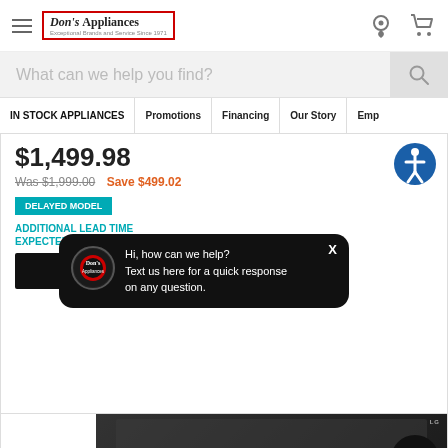Don's Appliances — Navigation header with hamburger menu, location icon, cart icon
What can we help you find?
IN STOCK APPLIANCES | Promotions | Financing | Our Story | Emp
$1,499.98
Was $1,999.00  Save $499.02
DELAYED MODEL
ADDITIONAL LEAD TIME
EXPECTED O…
[Figure (screenshot): Chat overlay bubble from Don's Appliances: 'Hi, how can we help? Text us here for a quick response on any question.']
FILTER & SORT
[Figure (photo): LG appliance product image in dark color]